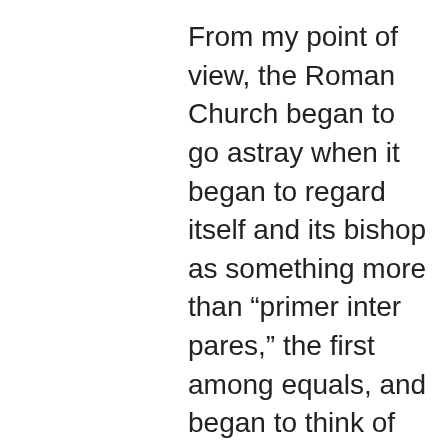From my point of view, the Roman Church began to go astray when it began to regard itself and its bishop as something more than “primer inter pares,” the first among equals, and began to think of itself as a divine substitute for the imperial authority which had deserted the city for Constantiople. When Gregory the Great was elected bishop he had to wait until his election was confirmed by the Emperor from whom he received the pallium But his successors had that Roman itch for rule and the collapse of the imperial power in the West was simply too much of a temptation. And unlike our Lord they liked the idea of all the kings of the world bowing down to them. And then in the eleventh century they decided to turn all of the Church in the West